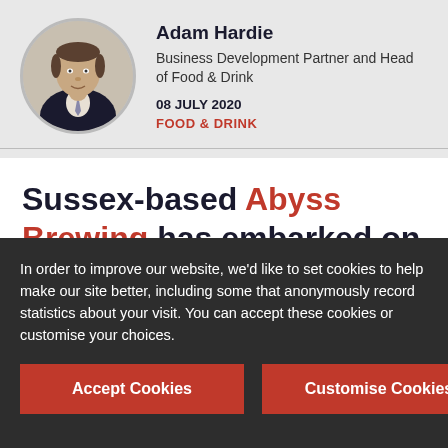[Figure (photo): Circular portrait photo of Adam Hardie, a man in a dark suit with tie]
Adam Hardie
Business Development Partner and Head of Food & Drink
08 JULY 2020
FOOD & DRINK
Sussex-based Abyss Brewing has embarked on a major expansion of its direct-to-consumer sales after winning
In order to improve our website, we'd like to set cookies to help make our site better, including some that anonymously record statistics about your visit. You can accept these cookies or customise your choices.